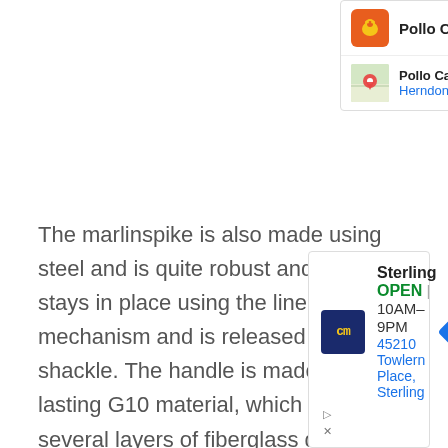[Figure (screenshot): Pollo Campero search result card with logo and map thumbnail showing Herndon 10AM-10PM with navigation icon]
The marlinspike is also made using steel and is quite robust and rigid. It stays in place using the liner lock mechanism and is released via the shackle. The handle is made using the lasting G10 material, which consists of several layers of fiberglass drenched in resin. This material is
[Figure (screenshot): CM Sterling advertisement card showing OPEN 10AM-9PM, 45210 Towlern Place, Sterling with navigation diamond icon and ad close controls]